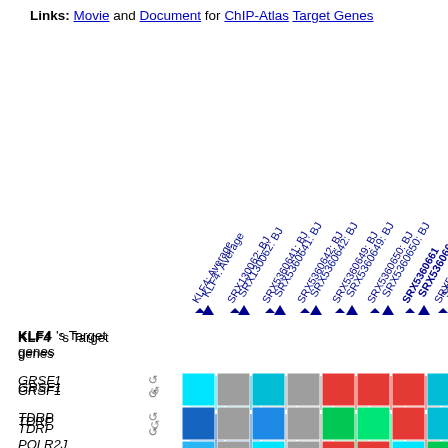Links: Movie and Document for ChIP-Atlas Target Genes
[Figure (table-as-image): Heatmap matrix showing KLF4 target genes (GRSF1, TDRP, POLR2J, PSMF1, SPA17, SIAE, HSPE1-MOB4, HSPE1) vs columns (KLF4: Average, SRX130062: BJ, SRX5360641: BJ, SRX5360642: BJ, SRX5360649: BJ, SRX5360650: BJ, SRX5360661, SRX5...) with colored cells indicating binding levels (cyan, blue, green, red, gray, yellow)]
KLF4's Target genes
GRSF1
TDRP
POLR2J
PSMF1
SPA17
SIAE
HSPE1-MOB4
HSPE1